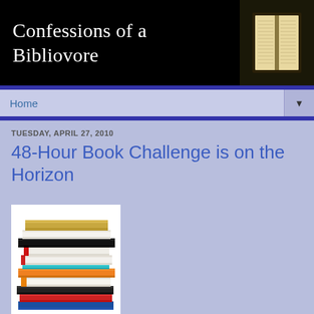Confessions of a Bibliovore
Home
TUESDAY, APRIL 27, 2010
48-Hour Book Challenge is on the Horizon
[Figure (illustration): Stack of colorful books clip art illustration — books stacked with colors including tan/gold on top, black, white, red, white, cyan/teal, orange, white, dark, red, blue at the bottom]